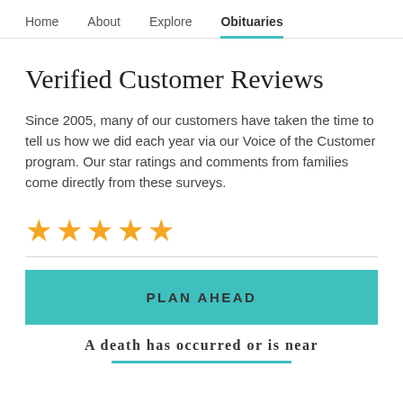Home  About  Explore  Obituaries
Verified Customer Reviews
Since 2005, many of our customers have taken the time to tell us how we did each year via our Voice of the Customer program. Our star ratings and comments from families come directly from these surveys.
[Figure (other): Five gold star rating icons]
PLAN AHEAD
A death has occurred or is near